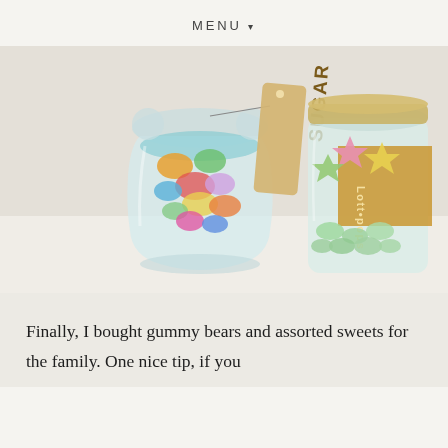MENU ▾
[Figure (photo): Two candy jars filled with colorful sweets on a white surface. Left jar is bear-shaped glass filled with assorted gummy candies with a hanging 'SUGAR' label tag. Right jar is cylindrical glass with star-shaped and round green candies, labeled 'Lottapops' on the side with gold branding.]
Finally, I bought gummy bears and assorted sweets for the family. One nice tip, if you